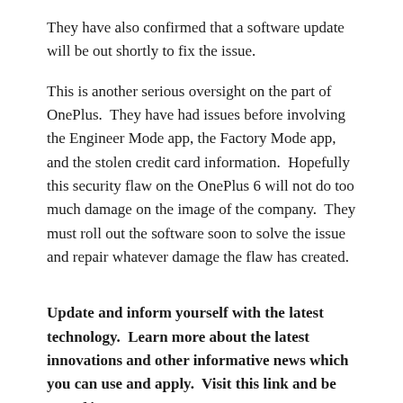They have also confirmed that a software update will be out shortly to fix the issue.
This is another serious oversight on the part of OnePlus.  They have had issues before involving the Engineer Mode app, the Factory Mode app, and the stolen credit card information.  Hopefully this security flaw on the OnePlus 6 will not do too much damage on the image of the company.  They must roll out the software soon to solve the issue and repair whatever damage the flaw has created.
Update and inform yourself with the latest technology.  Learn more about the latest innovations and other informative news which you can use and apply.  Visit this link and be one of its patrons  https://www.patreon.com/technewsgadget.